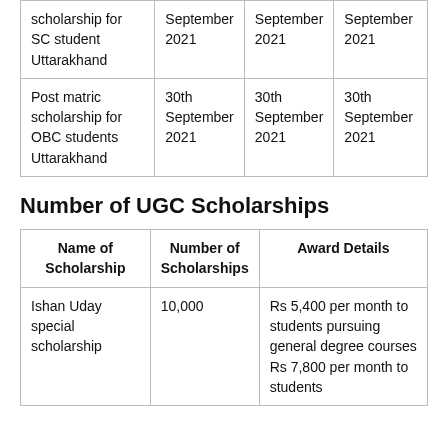| scholarship for SC student Uttarakhand | September 2021 | September 2021 | September 2021 |
| Post matric scholarship for OBC students Uttarakhand | 30th September 2021 | 30th September 2021 | 30th September 2021 |
Number of UGC Scholarships
| Name of Scholarship | Number of Scholarships | Award Details |
| --- | --- | --- |
| Ishan Uday special scholarship | 10,000 | Rs 5,400 per month to students pursuing general degree courses Rs 7,800 per month to students... |